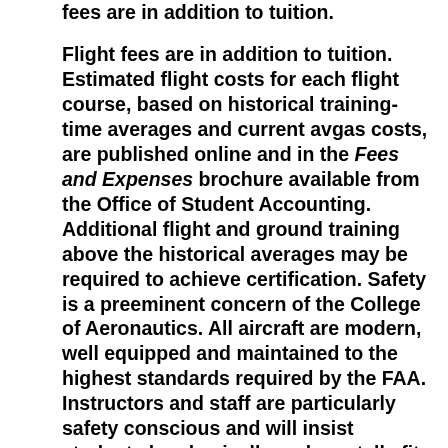fees are in addition to tuition.
Flight fees are in addition to tuition. Estimated flight costs for each flight course, based on historical training-time averages and current avgas costs, are published online and in the Fees and Expenses brochure available from the Office of Student Accounting. Additional flight and ground training above the historical averages may be required to achieve certification. Safety is a preeminent concern of the College of Aeronautics. All aircraft are modern, well equipped and maintained to the highest standards required by the FAA. Instructors and staff are particularly safety conscious and will insist students be physically and mentally fit to fly. All flight students are subject to random or “for cause” drug testing during enrollment as